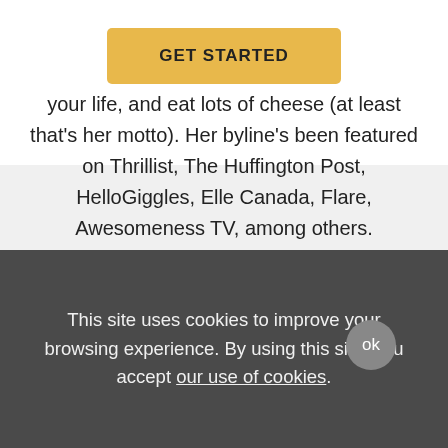GET STARTED
your life, and eat lots of cheese (at least that's her motto). Her byline's been featured on Thrillist, The Huffington Post, HelloGiggles, Elle Canada, Flare, Awesomeness TV, among others.
See more articles written by Brianne Hogan
This site uses cookies to improve your browsing experience. By using this site, you accept our use of cookies.